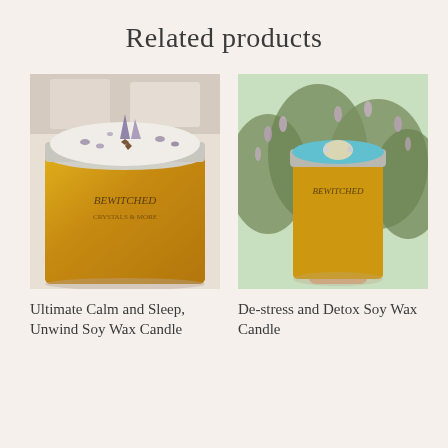Related products
[Figure (photo): A gold jar candle by Bewitched with white wax top, amethyst crystal points, dried lavender flowers and a star anise on top. Background shows additional candles.]
[Figure (photo): A gold jar candle by Bewitched held in a hand against a background of flowering lavender bushes. The candle has blue wax and crystal/shell decorations on top.]
Ultimate Calm and Sleep, Unwind Soy Wax Candle
De-stress and Detox Soy Wax Candle